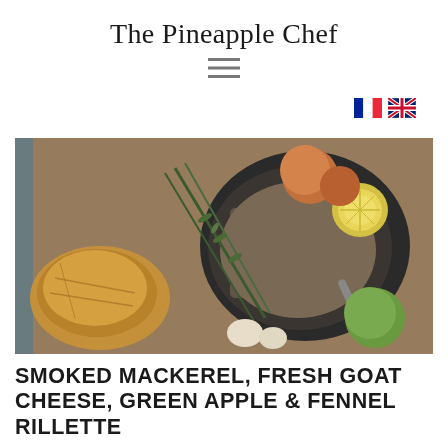The Pineapple Chef
[Figure (other): Hamburger menu icon (three horizontal lines)]
[Figure (other): French flag and UK flag icons for language selection]
[Figure (photo): Overhead food photography showing a bowl of mackerel rillette with a lemon slice, surrounded by bread, apples, fennel/rosemary sprigs on a wooden board]
SMOKED MACKEREL, FRESH GOAT CHEESE, GREEN APPLE & FENNEL RILLETTE